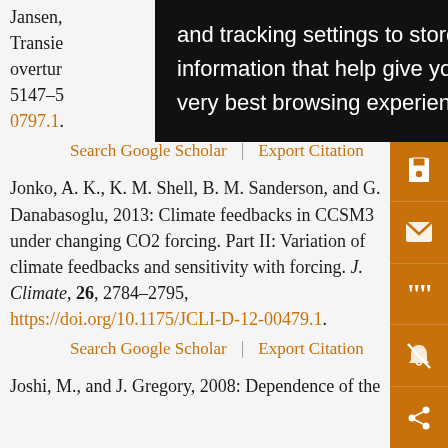Jansen, [...] 18: Transie[...] an's overtur[...] 1, 5147–5[...] 0797.1.
Search Google Scholar | Export Citation
Jonko, A. K., K. M. Shell, B. M. Sanderson, and G. Danabasoglu, 2013: Climate feedbacks in CCSM3 under changing CO2 forcing. Part II: Variation of climate feedbacks and sensitivity with forcing. J. Climate, 26, 2784–2795, https://doi.org/10.1175/JCLI-D-12-00479.1.
Search Google Scholar | Export Citation
Joshi, M., and J. Gregory, 2008: Dependence of the
[Figure (screenshot): Black popup tooltip/overlay with white text reading: 'and tracking settings to store information that help give you the very best browsing experience.']